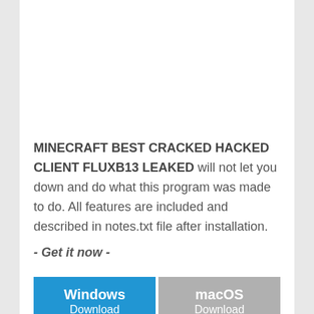MINECRAFT BEST CRACKED HACKED CLIENT FLUXB13 LEAKED will not let you down and do what this program was made to do. All features are included and described in notes.txt file after installation.
- Get it now -
[Figure (other): Four download buttons arranged in a 2x2 grid: Windows Download (blue), macOS Download (gray), iOS Download (teal), Android Download (green)]